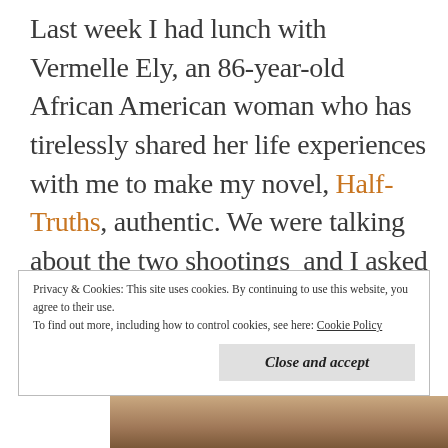Last week I had lunch with Vermelle Ely, an 86-year-old African American woman who has tirelessly shared her life experiences with me to make my novel, Half-Truths, authentic. We were talking about the two shootings  and I asked for her thoughts were about what was going on in today's world.
Privacy & Cookies: This site uses cookies. By continuing to use this website, you agree to their use.
To find out more, including how to control cookies, see here: Cookie Policy
[Figure (photo): Bottom strip showing partial faces of people in a photograph]